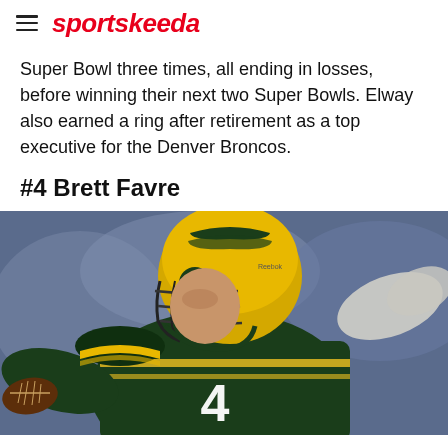sportskeeda
Super Bowl three times, all ending in losses, before winning their next two Super Bowls. Elway also earned a ring after retirement as a top executive for the Denver Broncos.
#4 Brett Favre
[Figure (photo): Brett Favre in Green Bay Packers uniform #4, in throwing motion, wearing gold helmet with G logo, green jersey with yellow stripes, photographed during a game]